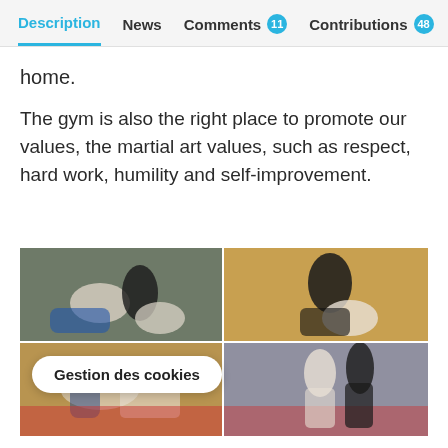Description | News | Comments 11 | Contributions 48
home.
The gym is also the right place to promote our values, the martial art values, such as respect, hard work, humility and self-improvement.
[Figure (photo): Four photos of martial arts (jiu-jitsu) training sessions in a gym, showing sparring and ground techniques.]
Gestion des cookies